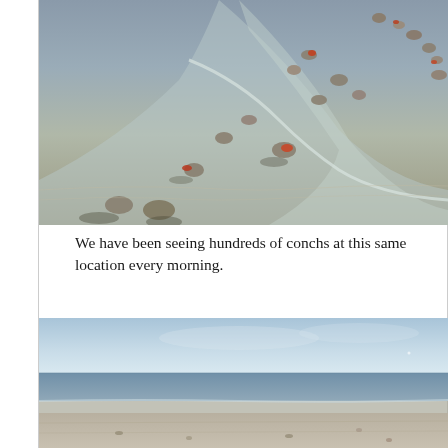[Figure (photo): Aerial view of a sandy beach with hundreds of conch shells scattered along the waterline. The shells and rocks cast long shadows on the wet sand. Waves are gently washing up on the shore.]
We have been seeing hundreds of conchs at this same location every morning.
[Figure (photo): Wide view of a calm sandy beach with blue sky and ocean. The shoreline is flat with a few scattered shells visible on the sand.]